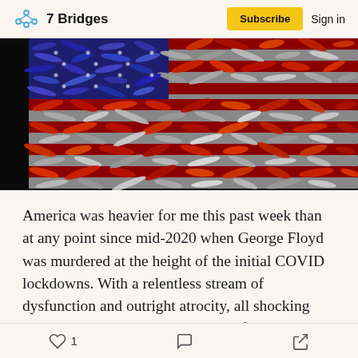7 Bridges | Subscribe | Sign in
[Figure (photo): American flag made of bullet casings and ammunition — red, white, and blue bullets arranged in the pattern of the US flag against a dark background.]
America was heavier for me this past week than at any point since mid-2020 when George Floyd was murdered at the height of the initial COVID lockdowns. With a relentless stream of dysfunction and outright atrocity, all shocking (but somehow not surprising), painful, and traumatic, it feels
1 | comment | share